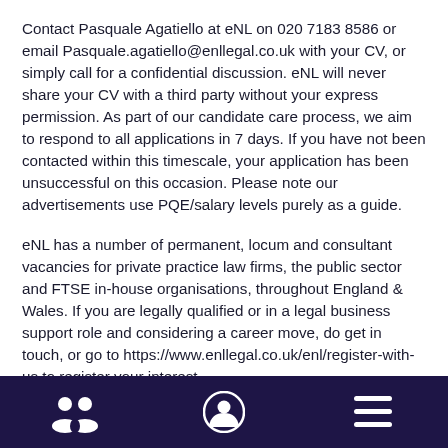Contact Pasquale Agatiello at eNL on 020 7183 8586 or email Pasquale.agatiello@enllegal.co.uk with your CV, or simply call for a confidential discussion. eNL will never share your CV with a third party without your express permission. As part of our candidate care process, we aim to respond to all applications in 7 days. If you have not been contacted within this timescale, your application has been unsuccessful on this occasion. Please note our advertisements use PQE/salary levels purely as a guide.
eNL has a number of permanent, locum and consultant vacancies for private practice law firms, the public sector and FTSE in-house organisations, throughout England & Wales. If you are legally qualified or in a legal business support role and considering a career move, do get in touch, or go to https://www.enllegal.co.uk/enl/register-with-us to register your interest.
[navigation icons: group, person, menu]